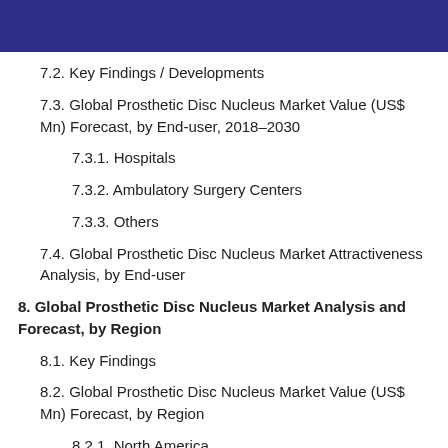7.2. Key Findings / Developments
7.3. Global Prosthetic Disc Nucleus Market Value (US$ Mn) Forecast, by End-user, 2018–2030
7.3.1. Hospitals
7.3.2. Ambulatory Surgery Centers
7.3.3. Others
7.4. Global Prosthetic Disc Nucleus Market Attractiveness Analysis, by End-user
8. Global Prosthetic Disc Nucleus Market Analysis and Forecast, by Region
8.1. Key Findings
8.2. Global Prosthetic Disc Nucleus Market Value (US$ Mn) Forecast, by Region
8.2.1. North America